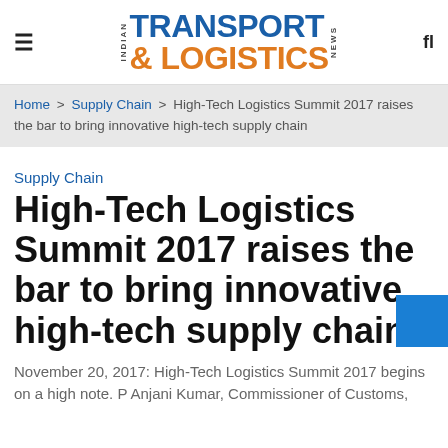INDIAN TRANSPORT & LOGISTICS NEWS
Home > Supply Chain > High-Tech Logistics Summit 2017 raises the bar to bring innovative high-tech supply chain
Supply Chain
High-Tech Logistics Summit 2017 raises the bar to bring innovative high-tech supply chain
November 20, 2017: High-Tech Logistics Summit 2017 begins on a high note. P Anjani Kumar, Commissioner of Customs,